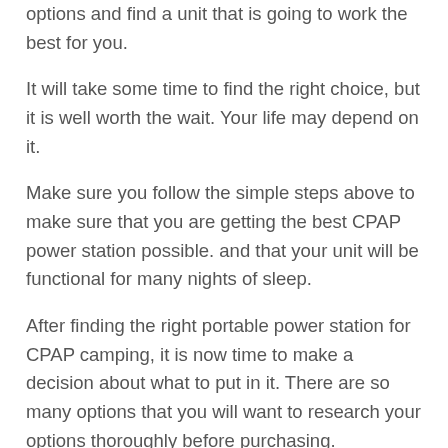options and find a unit that is going to work the best for you.
It will take some time to find the right choice, but it is well worth the wait. Your life may depend on it.
Make sure you follow the simple steps above to make sure that you are getting the best CPAP power station possible. and that your unit will be functional for many nights of sleep.
After finding the right portable power station for CPAP camping, it is now time to make a decision about what to put in it. There are so many options that you will want to research your options thoroughly before purchasing.
One popular option to consider for a portable power